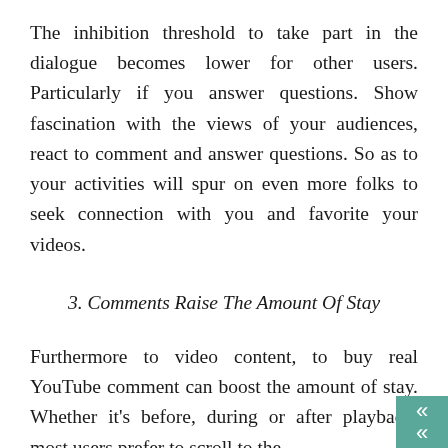The inhibition threshold to take part in the dialogue becomes lower for other users. Particularly if you answer questions. Show fascination with the views of your audiences, react to comment and answer questions. So as to your activities will spur on even more folks to seek connection with you and favorite your videos.
3. Comments Raise The Amount Of Stay
Furthermore to video content, to buy real YouTube comment can boost the amount of stay. Whether it's before, during or after playback, most users prefer to scroll to the